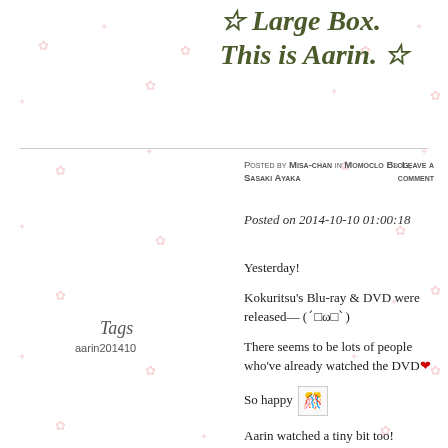☆ Large box. This is Aarin. ☆
Posted by Misa-chan in Momoclo Blog, Sasaki Ayaka
≈ Leave a comment
Posted on 2014-10-10 01:00:18
Tags
aarin201410
Yesterday!
Kokuritsu's Blu-ray & DVD were released— (ˊ□ω□ˋ)
There seems to be lots of people who've already watched the DVD❤
So happy 🎊
Aarin watched a tiny bit too! (laugh)